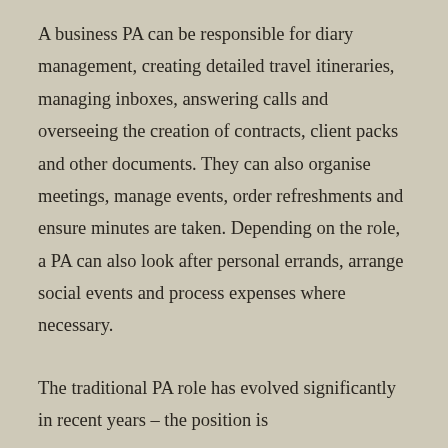A business PA can be responsible for diary management, creating detailed travel itineraries, managing inboxes, answering calls and overseeing the creation of contracts, client packs and other documents. They can also organise meetings, manage events, order refreshments and ensure minutes are taken. Depending on the role, a PA can also look after personal errands, arrange social events and process expenses where necessary.
The traditional PA role has evolved significantly in recent years – the position is